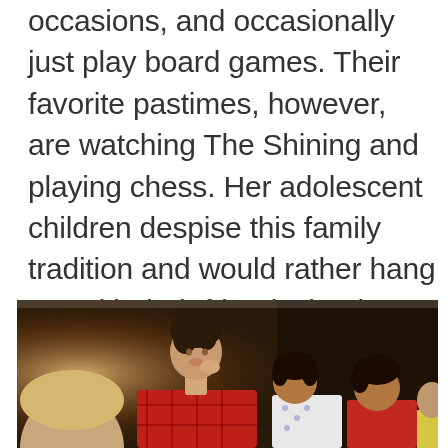occasions, and occasionally just play board games. Their favorite pastimes, however, are watching The Shining and playing chess. Her adolescent children despise this family tradition and would rather hang out with their friends, but her younger children, the ten, enjoy their Family Fun Night, so the tradition continues.
[Figure (photo): A woman in a red plaid shirt sitting with several children in a dim indoor setting, appearing to be having a family night together.]